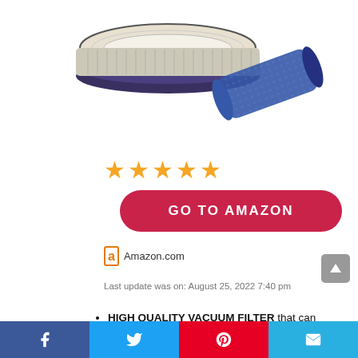[Figure (photo): Product photo of Dyson vacuum filter components on white background — a round pleated filter and a cylindrical blue mesh filter]
[Figure (other): Five orange/gold filled star rating icons]
GO TO AMAZON
Amazon.com
Last update was on: August 25, 2022 7:40 pm
HIGH QUALITY VACUUM FILTER that can replace your Dyson Washable & Reusable Pre-
[Figure (other): Social share bar with Facebook, Twitter, Pinterest, and Email buttons]